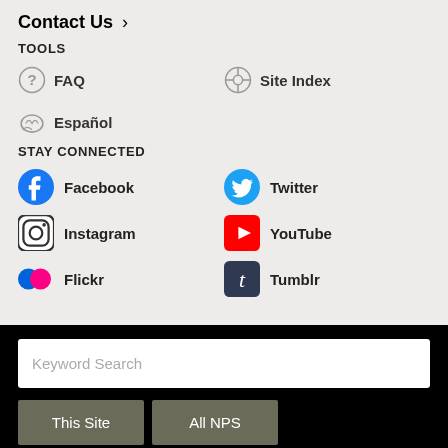Contact Us ›
TOOLS
FAQ
Site Index
Español
STAY CONNECTED
Facebook
Twitter
Instagram
YouTube
Flickr
Tumblr
Keyword Search
This Site
All NPS